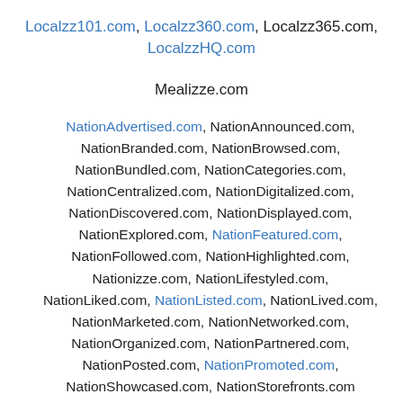Localzz101.com, Localzz360.com, Localzz365.com, LocalzzHQ.com
Mealizze.com
NationAdvertised.com, NationAnnounced.com, NationBranded.com, NationBrowsed.com, NationBundled.com, NationCategories.com, NationCentralized.com, NationDigitalized.com, NationDiscovered.com, NationDisplayed.com, NationExplored.com, NationFeatured.com, NationFollowed.com, NationHighlighted.com, Nationizze.com, NationLifestyled.com, NationLiked.com, NationListed.com, NationLived.com, NationMarketed.com, NationNetworked.com, NationOrganized.com, NationPartnered.com, NationPosted.com, NationPromoted.com, NationShowcased.com, NationStorefronts.com